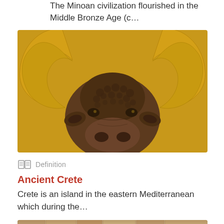The Minoan civilization flourished in the Middle Bronze Age (c…
[Figure (photo): Bronze bull's head sculpture with golden horns against a golden/mustard yellow background, viewed from the front]
Definition
Ancient Crete
Crete is an island in the eastern Mediterranean which during the…
[Figure (photo): Stone ruins or ancient masonry wall structure, partially visible at the bottom of the page]